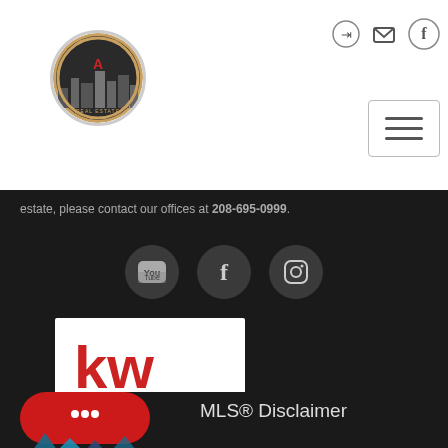[Figure (logo): Round real estate agency logo with city skyline]
[Figure (illustration): Top navigation icons: login, email, Facebook, and hamburger menu button]
estate, please contact our offices at 208-695-0999.
[Figure (illustration): Three dark circular social media icons: YouTube, Facebook, Instagram]
[Figure (logo): Keller Williams real estate logo in white box with red kw letters]
[Figure (illustration): Red chat bubble button with ellipsis dots]
MLS® Disclaimer
[Figure (logo): Partial MLS logo visible at bottom of page]